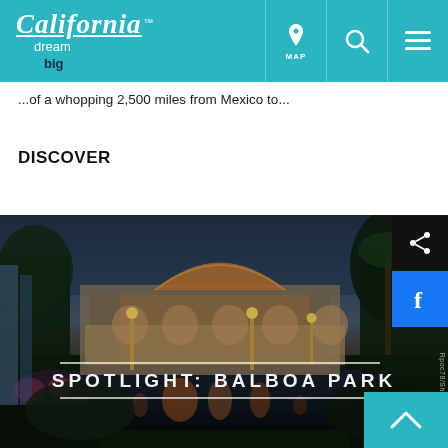California dream big — header navigation with MAP, search, and menu icons
...of a whopping 2,500 miles from Mexico to...
DISCOVER
[Figure (photo): Night/dusk photo of Balboa Park in San Diego showing the botanical building with illuminated dome, reflecting pond, tropical plants, and palm trees with warm orange lights reflected in the water.]
SPOTLIGHT: BALBOA PARK